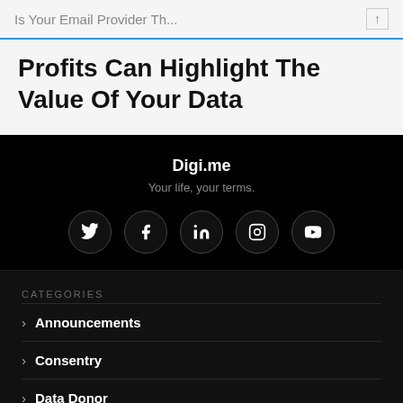Is Your Email Provider Th...
Profits Can Highlight The Value Of Your Data
Digi.me
Your life, your terms.
[Figure (infographic): Social media icons in circles: Twitter, Facebook, LinkedIn, Instagram, YouTube]
CATEGORIES
Announcements
Consentry
Data Donor
Data Privacy